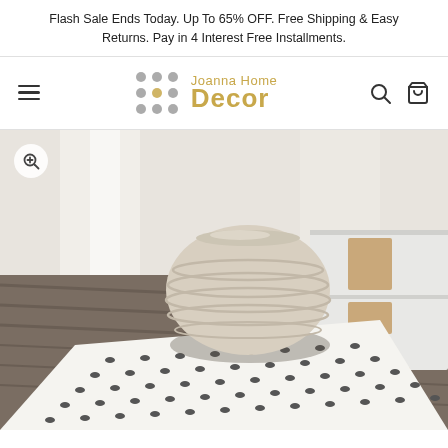Flash Sale Ends Today. Up To 65% OFF. Free Shipping & Easy Returns. Pay in 4 Interest Free Installments.
[Figure (logo): Joanna Home Decor logo with decorative circular dot pattern in grey and orange text]
[Figure (photo): Interior room scene showing a white and black patterned area rug runner on dark wood floor, with a round cream knit pouf/ottoman and white TV console cabinet with wood panel accents in the background]